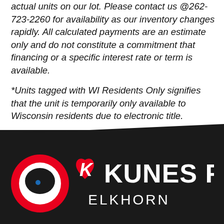actual units on our lot. Please contact us @262-723-2260 for availability as our inventory changes rapidly. All calculated payments are an estimate only and do not constitute a commitment that financing or a specific interest rate or term is available.
*Units tagged with WI Residents Only signifies that the unit is temporarily only available to Wisconsin residents due to electronic title.
[Figure (logo): Kunes RV Elkhorn logo — red circle with white chat bubble icon on left, heart-shaped K logo mark in red and white, text 'KUNES RV' in bold white, 'ELKHORN' in white below, all on black background]